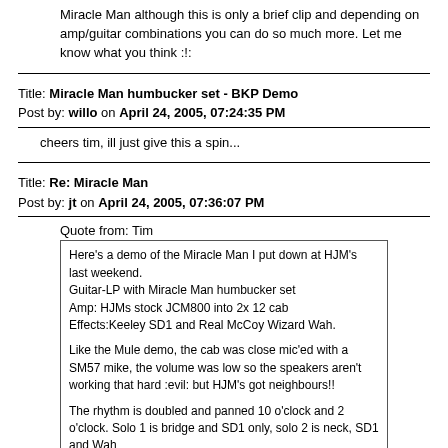Miracle Man although this is only a brief clip and depending on amp/guitar combinations you can do so much more. Let me know what you think :!:
Title: Miracle Man humbucker set - BKP Demo
Post by: willo on April 24, 2005, 07:24:35 PM
cheers tim, ill just give this a spin...
Title: Re: Miracle Man
Post by: jt on April 24, 2005, 07:36:07 PM
Quote from: Tim
Here's a demo of the Miracle Man I put down at HJM's last weekend.
Guitar-LP with Miracle Man humbucker set
Amp: HJMs stock JCM800 into 2x 12 cab
Effects:Keeley SD1 and Real McCoy Wizard Wah.

Like the Mule demo, the cab was close mic'ed with a SM57 mike, the volume was low so the speakers aren't working that hard :evil:  but HJM's got neighbours!!

The rhythm is doubled  and panned 10 o'clock and 2 o'clock. Solo 1 is bridge and SD1 only, solo 2 is neck, SD1 and Wah

There is a clean bridge/neck tone in the 2nd break if you listen hard although bare in mind the Miracle Man is a weapon of war :twisted:
8) Yer Loved It  !!! Pinch those Harmonics !!
Title: Miracle Man humbucker set - BKP Demo